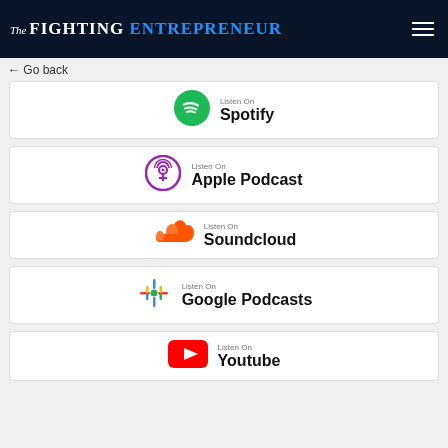The Fighting Entrepreneur
← Go back
Listen On Spotify
Listen On Apple Podcast
Listen On Soundcloud
Listen On Google Podcasts
Listen On Youtube